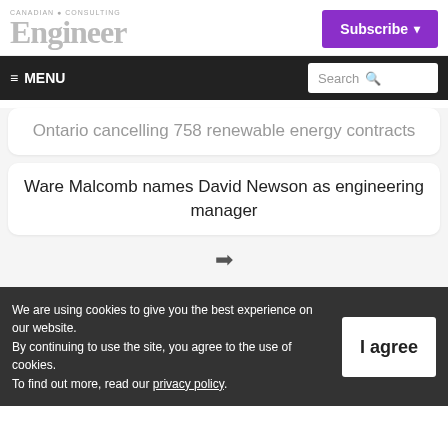CANADIAN CONSULTING Engineer Subscribe
≡ MENU | Search
Ontario cancelling 758 renewable energy contracts
Ware Malcomb names David Newson as engineering manager
→
We are using cookies to give you the best experience on our website. By continuing to use the site, you agree to the use of cookies. To find out more, read our privacy policy.
I agree